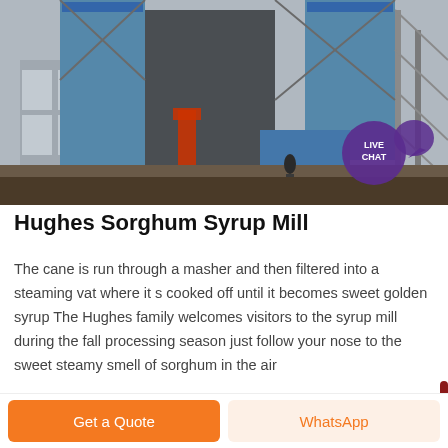[Figure (photo): Industrial sorghum syrup mill exterior with tall silos, blue structural supports, and steel framework. A worker is visible in the foreground on a dirt ground. A 'LIVE CHAT' badge with a speech bubble icon is overlaid in the top-right corner.]
Hughes Sorghum Syrup Mill
The cane is run through a masher and then filtered into a steaming vat where it s cooked off until it becomes sweet golden syrup The Hughes family welcomes visitors to the syrup mill during the fall processing season just follow your nose to the sweet steamy smell of sorghum in the air